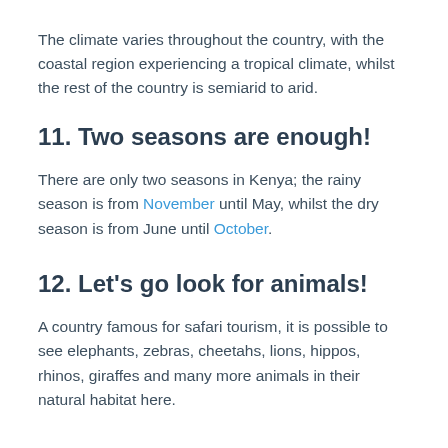The climate varies throughout the country, with the coastal region experiencing a tropical climate, whilst the rest of the country is semiarid to arid.
11. Two seasons are enough!
There are only two seasons in Kenya; the rainy season is from November until May, whilst the dry season is from June until October.
12. Let's go look for animals!
A country famous for safari tourism, it is possible to see elephants, zebras, cheetahs, lions, hippos, rhinos, giraffes and many more animals in their natural habitat here.